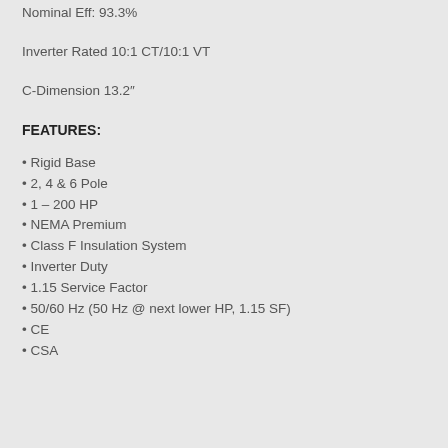Nominal Eff: 93.3%
Inverter Rated 10:1 CT/10:1 VT
C-Dimension 13.2″
FEATURES:
• Rigid Base
• 2, 4 & 6 Pole
• 1 – 200 HP
• NEMA Premium
• Class F Insulation System
• Inverter Duty
• 1.15 Service Factor
• 50/60 Hz (50 Hz @ next lower HP, 1.15 SF)
• CE
• CSA